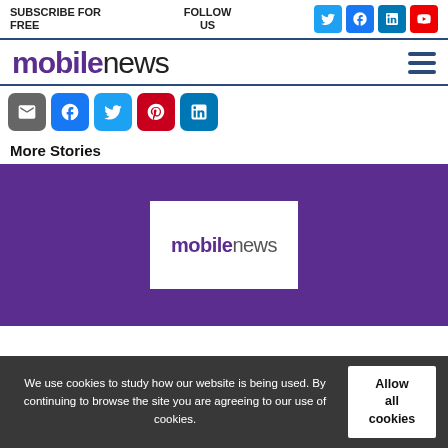SUBSCRIBE FOR FREE | FOLLOW US
[Figure (logo): Mobile News logo with purple 'mobile' and grey 'news' text]
[Figure (infographic): Social share buttons: email, Facebook, Twitter, Pinterest, LinkedIn]
More Stories
[Figure (logo): Mobile News logo on purple background with white box]
We use cookies to study how our website is being used. By continuing to browse the site you are agreeing to our use of cookies.